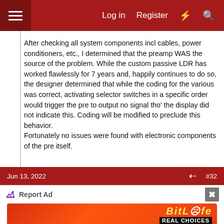Log in  Register
After checking all system components incl cables, power conditioners, etc., I determined that the preamp WAS the source of the problem. While the custom passive LDR has worked flawlessly for 7 years and, happily continues to do so, the designer determined that while the coding for the various was correct, activating selector switches in a specific order would trigger the pre to output no signal tho' the display did not indicate this. Coding will be modified to preclude this behavior.
Fortunately no issues were found with electronic components of the pre itself.
Jun 13, 2022  #32
[Figure (screenshot): Advertisement banner for BitLife mobile game showing cartoon characters on red background with text 'BitLife REAL CHOICES']